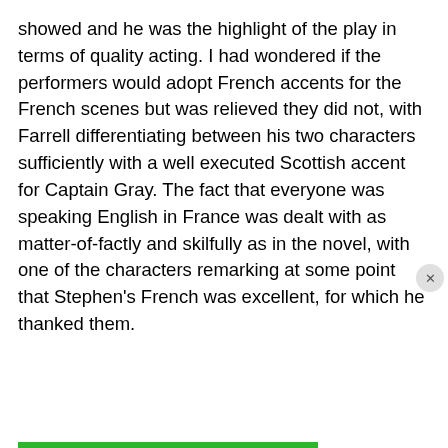showed and he was the highlight of the play in terms of quality acting. I had wondered if the performers would adopt French accents for the French scenes but was relieved they did not, with Farrell differentiating between his two characters sufficiently with a well executed Scottish accent for Captain Gray. The fact that everyone was speaking English in France was dealt with as matter-of-factly and skilfully as in the novel, with one of the characters remarking at some point that Stephen's French was excellent, for which he thanked them.
Privacy & Cookies: This site uses cookies. By continuing to use this website, you agree to their use. To find out more, including how to control cookies, see here: Cookie Policy